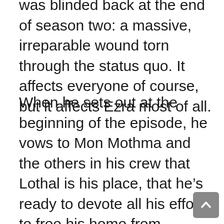was blinded back at the end of season two: a massive, irreparable wound torn through the status quo. It affects everyone of course, but it affects Ezra most of all.
When he sets out at the beginning of the episode, he vows to Mon Mothma and the others in his crew that Lothal is his place, that he's ready to devote all his efforts to free his home from Imperial rule. This is the goal he's set forth for himself since “The Siege of Lothal” when Darth Vader chased them offworld, to return and finished what his parents started. But when he sees the extent of the damage, sees how deeply the Empire’s influence has sunk into what he saw as incorruptible bastions of independent ideas, he despairs and all but gives up, reminded of Saw Gerrera’s words that his world is already lost to him, and all he has left is to fight back against the ones who took it from him.